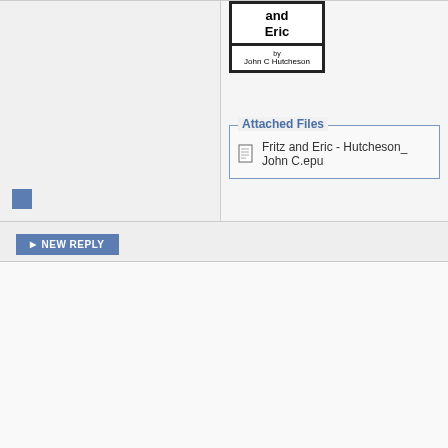[Figure (illustration): Book cover showing title 'and Eric' by John C Hutcheson]
Attached Files
Fritz and Eric - Hutcheson_ John C.epub
[Figure (other): Small blue square icon]
NEW REPLY